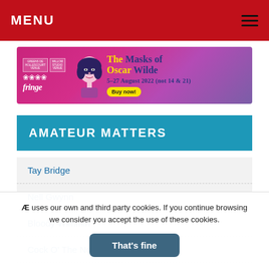MENU
[Figure (illustration): Banner advertisement for 'The Masks of Oscar Wilde' at the Edinburgh Fringe, 5-27 August 2022 (not 14 & 21), with Buy now! button]
AMATEUR MATTERS
Tay Bridge
Nell Gwynn
Bloody Wimmin
Cock O' The North
Disney's High School Musical on Stage!
Æ uses our own and third party cookies. If you continue browsing we consider you accept the use of these cookies.
That's fine